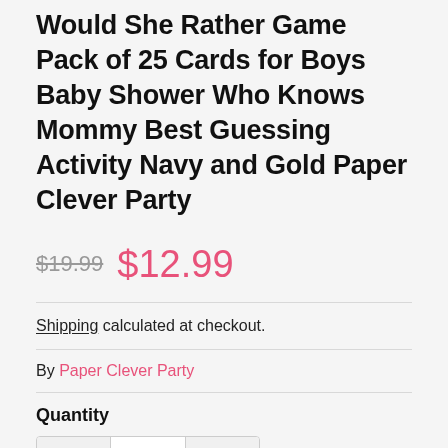Would She Rather Game Pack of 25 Cards for Boys Baby Shower Who Knows Mommy Best Guessing Activity Navy and Gold Paper Clever Party
$19.99  $12.99
Shipping calculated at checkout.
By Paper Clever Party
Quantity
1